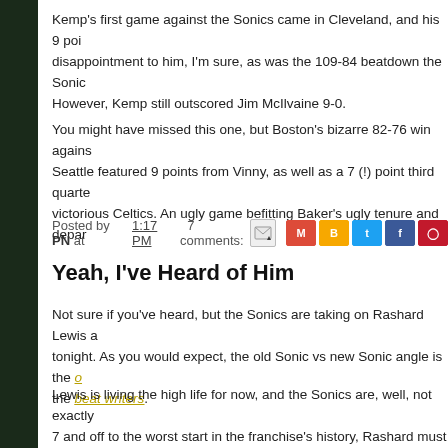Kemp's first game against the Sonics came in Cleveland, and his 9 poi... disappointment to him, I'm sure, as was the 109-84 beatdown the Sonic... However, Kemp still outscored Jim McIlvaine 9-0.
You might have missed this one, but Boston's bizarre 82-76 win against... Seattle featured 9 points from Vinny, as well as a 7 (!) point third quarte... victorious Celtics. An ugly game befitting Baker's ugly tenure and depar...
Posted by PN at 1:17 PM   7 comments:
Yeah, I've Heard of Him
Not sure if you've heard, but the Sonics are taking on Rashard Lewis a... tonight. As you would expect, the old Sonic vs new Sonic angle is the o... the beat writers.
Lewis is living the high life for now, and the Sonics are, well, not exactly... 7 and off to the worst start in the franchise's history, Rashard must be th... exactly the right decision. Add in Ray Allen's start with Boston, and the ... stars are a combined 10-2 this season. I'm guessing the Sonics will rea... plateau some time around Valentine's Day. At least, I hope so.